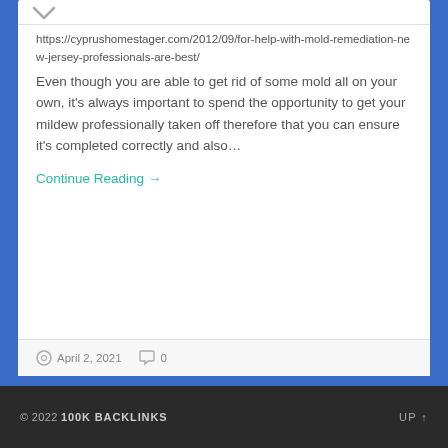https://cyprushomestager.com/2012/09/for-help-with-mold-remediation-new-jersey-professionals-are-best/
Even though you are able to get rid of some mold all on your own, it's always important to spend the opportunity to get your mildew professionally taken off therefore that you can ensure it's completed correctly and also…
Continue Reading →
April 2, 2021  0
© 2022 100K BACKLINKS   UP ↑